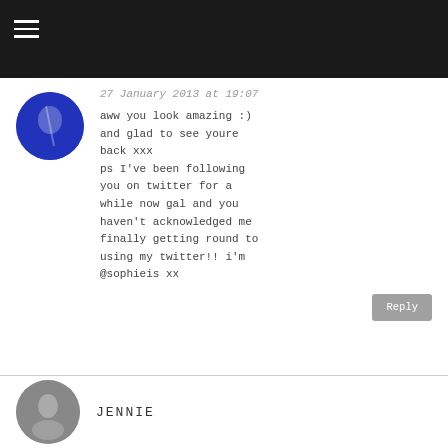27 January 2013 at 19:07
aww you look amazing :) and glad to see youre back xxx
ps I've been following you on twitter for a while now gal and you haven't acknowledged me finally getting round to using my twitter!! i'm @sophieis xx
Reply
JENNIE